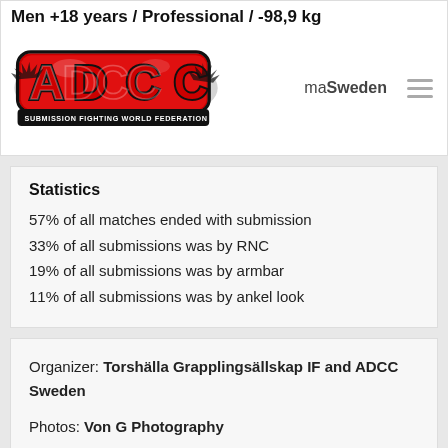Men +18 years / Professional / -98,9 kg
[Figure (logo): ADCC Submission Fighting World Federation logo — red graffiti-style letters ADCC with black outline and white highlights, black banner at bottom reading SUBMISSION FIGHTING WORLD FEDERATION]
maSweden
Statistics
57% of all matches ended with submission
33% of all submissions was by RNC
19% of all submissions was by armbar
11% of all submissions was by ankel look
Organizer: Torshälla Grapplingsällskap IF and ADCC Sweden
Photos: Von G Photography